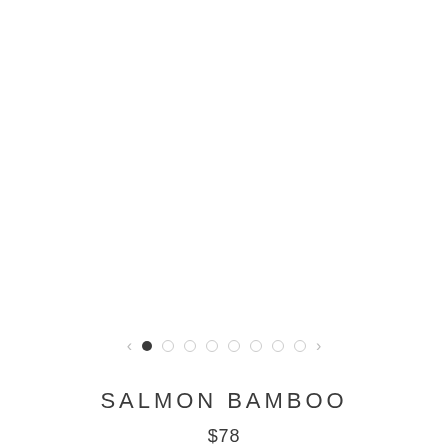[Figure (photo): White/blank product image area with navigation dots and arrows for an image carousel. One filled dark dot and seven empty circle dots, with left and right chevron arrows on each side.]
SALMON BAMBOO
$78